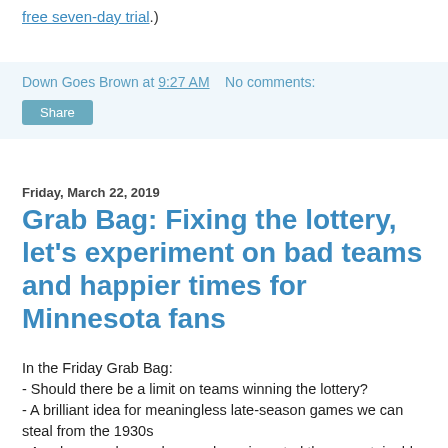free seven-day trial.)
Down Goes Brown at 9:27 AM   No comments:
Share
Friday, March 22, 2019
Grab Bag: Fixing the lottery, let’s experiment on bad teams and happier times for Minnesota fans
In the Friday Grab Bag:
- Should there be a limit on teams winning the lottery?
- A brilliant idea for meaningless late-season games we can steal from the 1930s
- An obscure player who may have invented the unsustainable shooting percentage
- The week’s three comedy stars
- And a YouTube look back at the Minnesota Fighting Saints, one of the weirdest teams of the early WHA days